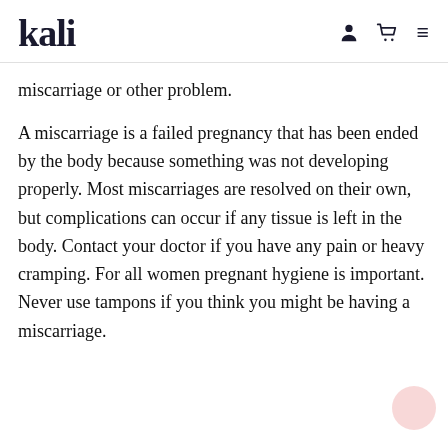kali
miscarriage or other problem.
A miscarriage is a failed pregnancy that has been ended by the body because something was not developing properly. Most miscarriages are resolved on their own, but complications can occur if any tissue is left in the body. Contact your doctor if you have any pain or heavy cramping. For all women pregnant hygiene is important. Never use tampons if you think you might be having a miscarriage.